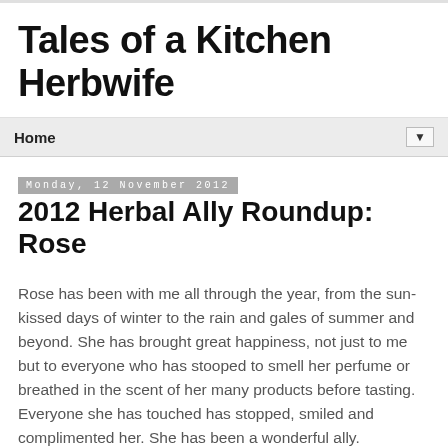Tales of a Kitchen Herbwife
Home
Monday, 12 November 2012
2012 Herbal Ally Roundup: Rose
Rose has been with me all through the year, from the sun-kissed days of winter to the rain and gales of summer and beyond. She has brought great happiness, not just to me but to everyone who has stooped to smell her perfume or breathed in the scent of her many products before tasting. Everyone she has touched has stopped, smiled and complimented her. She has been a wonderful ally.
I have two major rose varieties in my gardens. The apothecary's rose, rosa gallica and the David Austin old